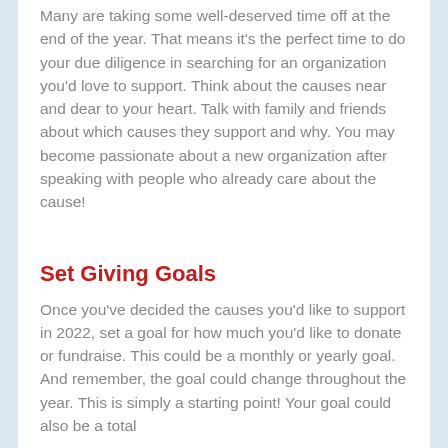Many are taking some well-deserved time off at the end of the year. That means it's the perfect time to do your due diligence in searching for an organization you'd love to support. Think about the causes near and dear to your heart. Talk with family and friends about which causes they support and why. You may become passionate about a new organization after speaking with people who already care about the cause!
Set Giving Goals
Once you've decided the causes you'd like to support in 2022, set a goal for how much you'd like to donate or fundraise. This could be a monthly or yearly goal. And remember, the goal could change throughout the year. This is simply a starting point! Your goal could also be a total